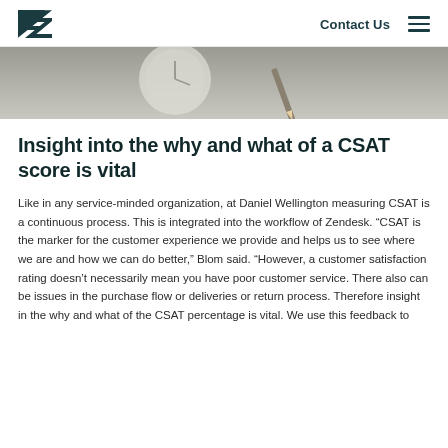Zendesk | Contact Us
[Figure (photo): Close-up photo of a pencil and what appears to be a clock or dial on a light surface, in muted gray tones]
Insight into the why and what of a CSAT score is vital
Like in any service-minded organization, at Daniel Wellington measuring CSAT is a continuous process. This is integrated into the workflow of Zendesk. “CSAT is the marker for the customer experience we provide and helps us to see where we are and how we can do better,” Blom said. “However, a customer satisfaction rating doesn’t necessarily mean you have poor customer service. There also can be issues in the purchase flow or deliveries or return process. Therefore insight in the why and what of the CSAT percentage is vital. We use this feedback to